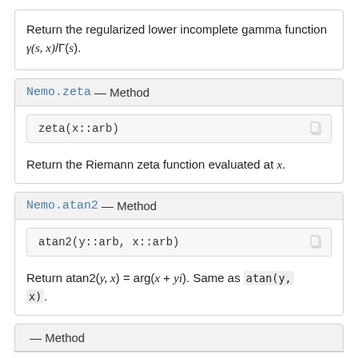Return the regularized lower incomplete gamma function γ(s, x)/Γ(s).
Nemo.zeta — Method
zeta(x::arb)
Return the Riemann zeta function evaluated at x.
Nemo.atan2 — Method
atan2(y::arb, x::arb)
Return atan2(y, x) = arg(x + yi). Same as atan(y, x).
— Method